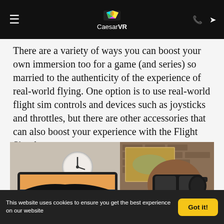CaesarVR
There are a variety of ways you can boost your own immersion too for a game (and series) so married to the authenticity of the experience of real-world flying. One option is to use real-world flight sim controls and devices such as joysticks and throttles, but there are other accessories that can also boost your experience with the Flight Simulator.
[Figure (photo): Person wearing a VR headset sitting at a desk with a flight simulator screen showing cockpit view, a wall clock, and brick wall in background]
This website uses cookies to ensure you get the best experience on our website  Got it!